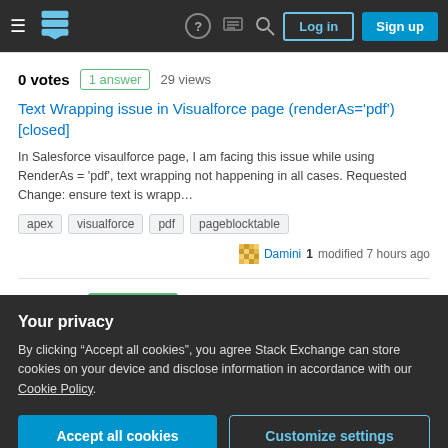Stack Exchange navigation bar with hamburger menu, logo, help, chat, search icons, Log in and Sign up buttons
0 votes  1 answer  29 views
Text Wrapping issue in Visualforce page (renderAs='pdf') [closed]
In Salesforce visaulforce page, I am facing this issue while using RenderAs = 'pdf', text wrapping not happening in all cases. Requested Change: ensure text is wrapp…
apex  visualforce  pdf  pageblocktable
Damini 1 modified 7 hours ago
14 votes  ✓ 5 answers  1k views
Your privacy
By clicking "Accept all cookies", you agree Stack Exchange can store cookies on your device and disclose information in accordance with our Cookie Policy.
Accept all cookies  Customize settings
Error while deleting record on update using trigger